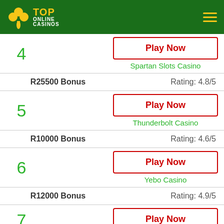[Figure (logo): Top Online Casinos logo with clover icon on dark green header with hamburger menu]
4 | Play Now | Spartan Slots Casino
R25500 Bonus | Rating: 4.8/5
5 | Play Now | Thunderbolt Casino
R10000 Bonus | Rating: 4.6/5
6 | Play Now | Yebo Casino
R12000 Bonus | Rating: 4.9/5
7 | Play Now